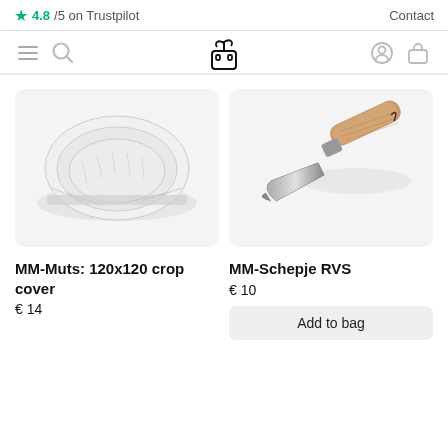★ 4.8/5 on Trustpilot    Contact
[Figure (screenshot): Navigation bar with hamburger menu, search icon, plant-robot logo, user icon, and bag icon]
[Figure (photo): MM-Muts 120x120 crop cover - a white translucent fabric plant cover]
MM-Muts: 120x120 crop cover
€ 14
[Figure (photo): MM-Schepje RVS - a stainless steel garden trowel with wooden handle]
MM-Schepje RVS
€ 10
Add to bag